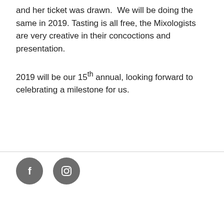and her ticket was drawn.  We will be doing the same in 2019. Tasting is all free, the Mixologists are very creative in their concoctions and presentation.
2019 will be our 15th annual, looking forward to celebrating a milestone for us.
[Figure (illustration): Two social media icon circles: Facebook (f) and Instagram (camera icon), both in dark gray.]